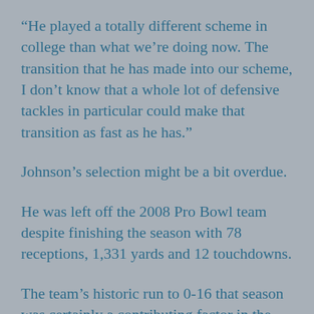“He played a totally different scheme in college than what we’re doing now. The transition that he has made into our scheme, I don’t know that a whole lot of defensive tackles in particular could make that transition as fast as he has.”
Johnson’s selection might be a bit overdue.
He was left off the 2008 Pro Bowl team despite finishing the season with 78 receptions, 1,331 yards and 12 touchdowns.
The team’s historic run to 0-16 that season was certainly a contributing factor in the snub.